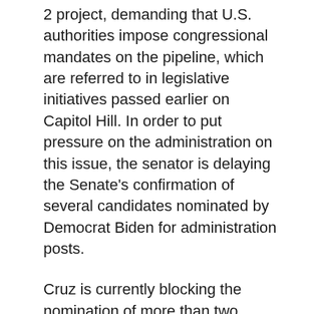2 project, demanding that U.S. authorities impose congressional mandates on the pipeline, which are referred to in legislative initiatives passed earlier on Capitol Hill. In order to put pressure on the administration on this issue, the senator is delaying the Senate's confirmation of several candidates nominated by Democrat Biden for administration posts.
Cruz is currently blocking the nomination of more than two dozen applicants for diplomatic posts, including ambassadors to several countries. This situation is of concern to the administration, which believes that this state of affairs could be a blow to the U.S. position on the world stage.
The White House has made at least one attempt to discuss his actions with the senator: On August 10 of this year, there was a telephone conversation